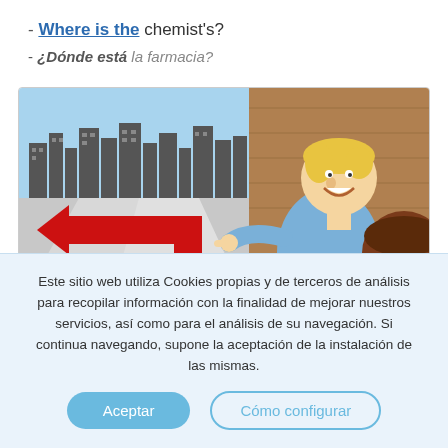- Where is the chemist's?
- ¿Dónde está la farmacia?
[Figure (illustration): Illustration showing a person pointing left toward a red directional arrow on a street map graphic, with a city skyline in the background. Another person (seen from behind) is asking for directions.]
Este sitio web utiliza Cookies propias y de terceros de análisis para recopilar información con la finalidad de mejorar nuestros servicios, así como para el análisis de su navegación. Si continua navegando, supone la aceptación de la instalación de las mismas.
Aceptar
Cómo configurar